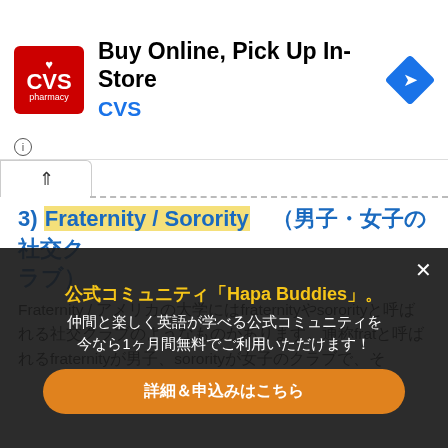[Figure (screenshot): CVS Pharmacy advertisement banner: red square logo with heart and CVS pharmacy text, headline 'Buy Online, Pick Up In-Store', subtext 'CVS' in blue, blue diamond navigation icon on right. Info (i) and X icons at bottom left.]
3) Fraternity / Sorority（男子・女子の社交クラブ）
Fraternity / アメリカの大学にはfraternityやsororityと呼ばれる社交クラブのようなものがあります。通称fratと呼ばれるfraternityが男子、sororityが女子のクラブで、それらに属する学生たちは同じ建物内で生活をし、派手なパーティ…友達や人脈作りのために入会する学生が多い一方で、クラ…　々な段階をクリアした人たちだけが入会できる…ステムになっています。Fratern…rothers（兄弟）、sororityではsisters（姉妹）と呼ば、入会の際に
[Figure (screenshot): Dark overlay popup with Japanese text. Title in yellow: 公式コミュニティ「Hapa Buddies」。Body text in white: 仲間と楽しく英語が学べる公式コミュニティを今なら1ヶ月間無料でご利用いただけます！ Orange button: 詳細＆申込みはこちら. White X close button at top right.]